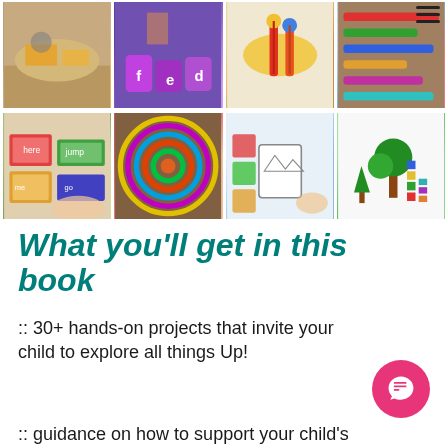[Figure (photo): A 2-row by 4-column grid of photos showing children's hands-on learning activities: sand play with toy trucks, colorful building blocks with letters, bead threading toys, colored sticks arranged in shapes, word card sorting, a hula hoop weaving craft, pattern block cards activity, and Lego/block tree scene.]
What you'll get in this book
:: 30+ hands-on projects that invite your child to explore all things Up!
:: guidance on how to support your child's